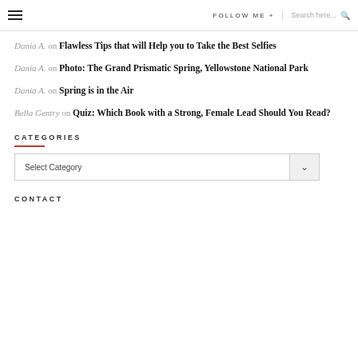FOLLOW ME +  Search here...
Dania A. on Flawless Tips that will Help you to Take the Best Selfies
Dania A. on Photo: The Grand Prismatic Spring, Yellowstone National Park
Dania A. on Spring is in the Air
Bella Gentry on Quiz: Which Book with a Strong, Female Lead Should You Read?
CATEGORIES
Select Category
CONTACT